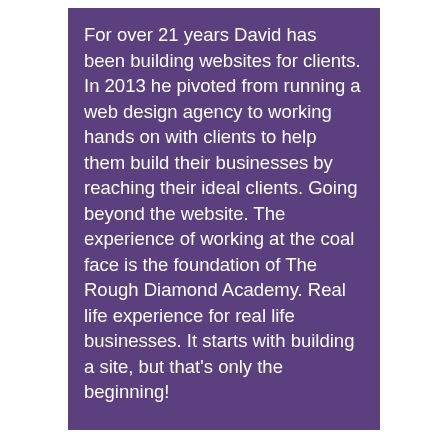For over 21 years David has been building websites for clients. In 2013 he pivoted from running a web design agency to working hands on with clients to help them build their businesses by reaching their ideal clients. Going beyond the website. The experience of working at the coal face is the foundation of The Rough Diamond Academy. Real life experience for real life businesses. It starts with building a site, but that's only the beginning!